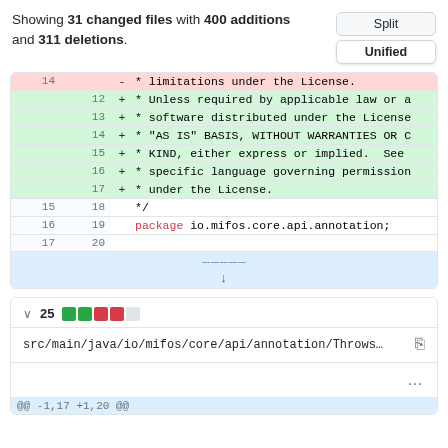Showing 31 changed files with 400 additions and 311 deletions.
| old ln | new ln | op | code |
| --- | --- | --- | --- |
| 14 |  | - | * limitations under the License. |
|  | 12 | + | * Unless required by applicable law or a |
|  | 13 | + | * software distributed under the License |
|  | 14 | + | * "AS IS" BASIS, WITHOUT WARRANTIES OR C |
|  | 15 | + | * KIND, either express or implied.  See |
|  | 16 | + | * specific language governing permission |
|  | 17 | + | * under the License. |
| 15 | 18 |  | */ |
| 16 | 19 |  | package io.mifos.core.api.annotation; |
| 17 | 20 |  |  |
[Figure (other): Expand hunk row with dotted lines and down arrow]
v 25 [diff stats: 2 green, 2 red, 1 white]
src/main/java/io/mifos/core/api/annotation/Throws…
...
@@ -1,17 +1,20 @@